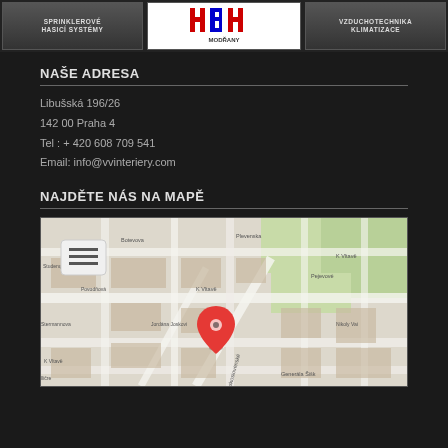[Figure (logo): Top banner with three sections: 'Sprinklerové hasicí systémy' button, HBH Modřany logo, 'Vzduchotechnika Klimatizace' button]
NAŠE ADRESA
Libušská 196/26
142 00 Praha 4
Tel : + 420 608 709 541
Email: info@vvinteriery.com
NAJDĚTE NÁS NA MAPĚ
[Figure (map): Google Maps screenshot showing street map of Praha 4 area with a red location pin marker]